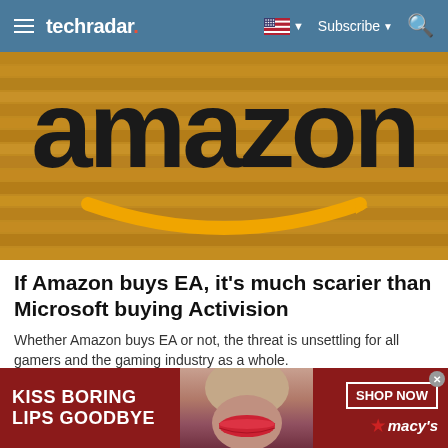techradar
[Figure (photo): Amazon logo sign on a wooden background with the iconic orange smile/arrow beneath the text]
If Amazon buys EA, it's much scarier than Microsoft buying Activision
Whether Amazon buys EA or not, the threat is unsettling for all gamers and the gaming industry as a whole.
TechRadar
[Figure (photo): Advertisement banner: KISS BORING LIPS GOODBYE with an image of red lips and a SHOP NOW button and Macy's branding]